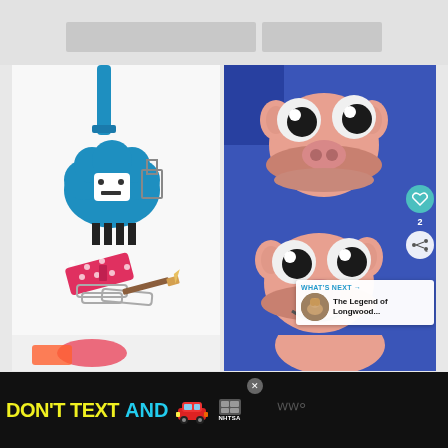[Figure (photo): Two side-by-side photos: left shows a blue felt/paper sheep craft with googly eyes and metal binder clips and a pink polka-dot bow; right shows pink pig-shaped cupcakes/cookies decorated with large googly candy eyes on a blue background]
2
WHAT'S NEXT → The Legend of Longwood...
[Figure (infographic): Black banner ad reading DON'T TEXT AND [car emoji] with Ad Choices badge and NHTSA logo]